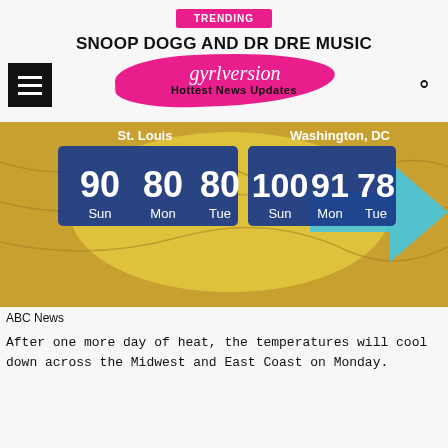TRENDING
SNOOP DOGG AND DR DRE MUSIC
[Figure (logo): gyrlversion Hottest News Updates logo with pink brush stroke background]
[Figure (screenshot): ABC News weather graphic showing St. Louis temperatures 90 Sun, 80 Mon, 80 Tue and Washington DC temperatures 100 Sun, 91 Mon, 78 Tue on a map background]
ABC News
After one more day of heat, the temperatures will cool down across the Midwest and East Coast on Monday.